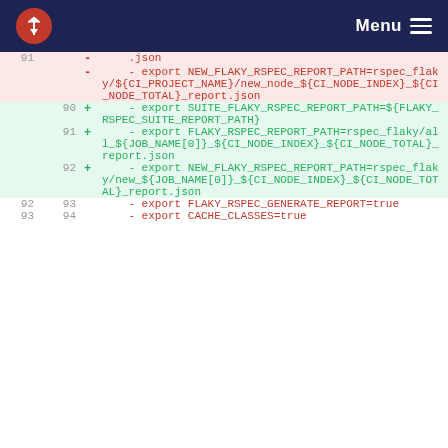Menu
91 - - export NEW_FLAKY_RSPEC_REPORT_PATH=rspec_flaky/${CI_PROJECT_NAME}/new_node_${CI_NODE_INDEX}_${CI_NODE_TOTAL}_report.json
90 + - export SUITE_FLAKY_RSPEC_REPORT_PATH=${FLAKY_RSPEC_SUITE_REPORT_PATH}
91 + - export FLAKY_RSPEC_REPORT_PATH=rspec_flaky/all_${JOB_NAME[0]}_${CI_NODE_INDEX}_${CI_NODE_TOTAL}_report.json
92 + - export NEW_FLAKY_RSPEC_REPORT_PATH=rspec_flaky/new_${JOB_NAME[0]}_${CI_NODE_INDEX}_${CI_NODE_TOTAL}_report.json
92 93 - export FLAKY_RSPEC_GENERATE_REPORT=true
93 94 - export CACHE_CLASSES=true